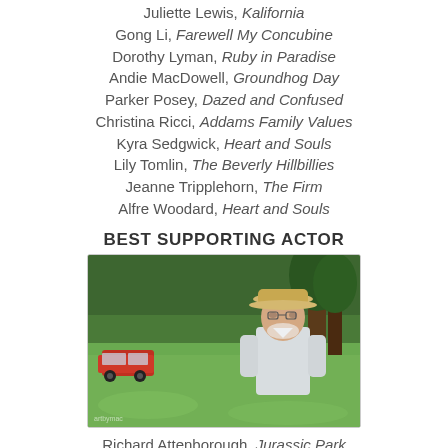Juliette Lewis, Kalifornia
Gong Li, Farewell My Concubine
Dorothy Lyman, Ruby in Paradise
Andie MacDowell, Groundhog Day
Parker Posey, Dazed and Confused
Christina Ricci, Addams Family Values
Kyra Sedgwick, Heart and Souls
Lily Tomlin, The Beverly Hillbillies
Jeanne Tripplehorn, The Firm
Alfre Woodard, Heart and Souls
BEST SUPPORTING ACTOR
[Figure (photo): Richard Attenborough as John Hammond in Jurassic Park, standing outdoors in a field with trees and a red vehicle in the background, wearing a white shirt and straw hat]
Richard Attenborough, Jurassic Park
Leonardo DiCaprio, What's Eating Gilbert Grape?
Jeff Goldblum, Jurassic Park